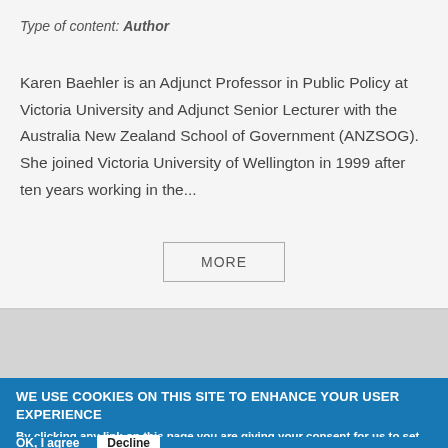Type of content: Author
Karen Baehler is an Adjunct Professor in Public Policy at Victoria University and Adjunct Senior Lecturer with the Australia New Zealand School of Government (ANZSOG).  She joined Victoria University of Wellington in 1999 after ten years working in the...
MORE
WE USE COOKIES ON THIS SITE TO ENHANCE YOUR USER EXPERIENCE
By clicking any link on this page you are giving your consent for us to set cookies. More info
OK, I agree   Decline